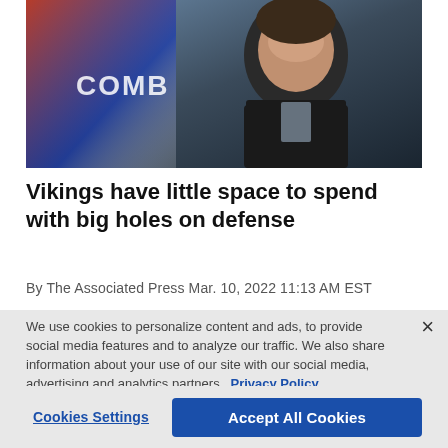[Figure (photo): Man in dark jacket at NFL Scouting Combine event, blue and red background with 'COMBINE' text visible]
Vikings have little space to spend with big holes on defense
By The Associated Press Mar. 10, 2022 11:13 AM EST
We use cookies to personalize content and ads, to provide social media features and to analyze our traffic. We also share information about your use of our site with our social media, advertising and analytics partners. Privacy Policy
Cookies Settings
Accept All Cookies